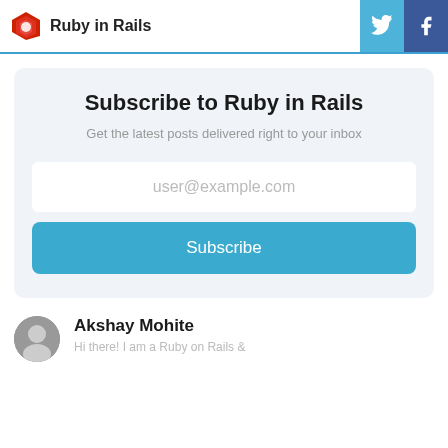Ruby in Rails
Subscribe to Ruby in Rails
Get the latest posts delivered right to your inbox
user@example.com
Subscribe
Akshay Mohite
Hi there! I am a Ruby on Rails &